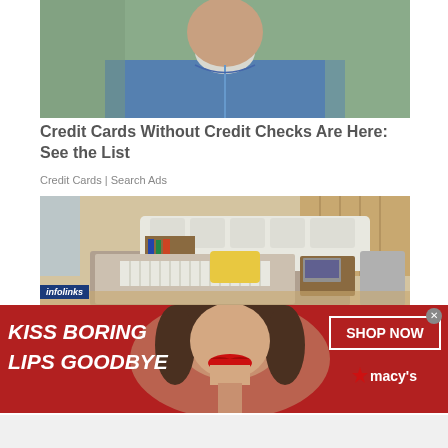[Figure (photo): Photo of an older heavyset man wearing a blue zip-up fleece jacket and a white turtleneck, photographed outdoors]
Credit Cards Without Credit Checks Are Here: See the List
Credit Cards | Search Ads
[Figure (photo): Photo of a modern luxury bed with white tufted headboard and sofa, bookshelf with books, yellow pillow, striped runner, wood side table with laptop, and various items, in a contemporary apartment]
infolinks
[Figure (photo): Macy's advertisement banner with red background showing a woman with red lipstick, text KISS BORING LIPS GOODBYE, SHOP NOW button, and Macy's star logo]